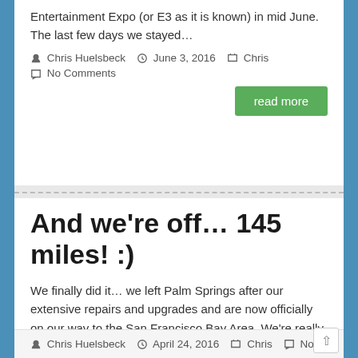Entertainment Expo (or E3 as it is known) in mid June. The last few days we stayed…
Chris Huelsbeck  June 3, 2016  Chris  No Comments
read more
And we're off… 145 miles! :)
We finally did it… we left Palm Springs after our extensive repairs and upgrades and are now officially on our way to the San Francisco Bay Area. We're really looking forward to be reunited with our house plants (which are…
Chris Huelsbeck  April 24, 2016  Chris  No